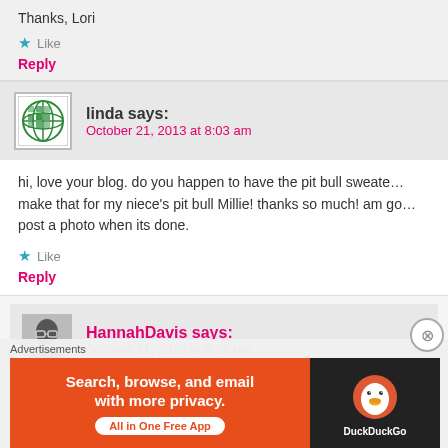Thanks, Lori
★ Like
Reply
linda says: October 21, 2013 at 8:03 am
hi, love your blog. do you happen to have the pit bull sweate... make that for my niece's pit bull Millie! thanks so much! am go... post a photo when its done.
★ Like
Reply
HannahDavis says: October 21, 2013 at 8:28 pm
Advertisements
[Figure (infographic): DuckDuckGo advertisement banner: 'Search, browse, and email with more privacy. All in One Free App' with DuckDuckGo logo on dark background.]